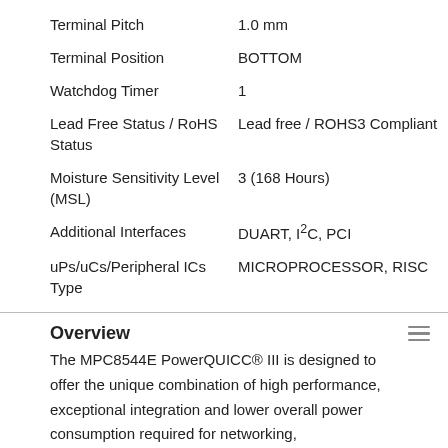| Property | Value |
| --- | --- |
| Terminal Pitch | 1.0 mm |
| Terminal Position | BOTTOM |
| Watchdog Timer | 1 |
| Lead Free Status / RoHS Status | Lead free / ROHS3 Compliant |
| Moisture Sensitivity Level (MSL) | 3 (168 Hours) |
| Additional Interfaces | DUART, I²C, PCI |
| uPs/uCs/Peripheral ICs Type | MICROPROCESSOR, RISC |
Overview
The MPC8544E PowerQUICC® III is designed to offer the unique combination of high performance, exceptional integration and lower overall power consumption required for networking, communications and industrial control applications.
The MPC8544E includes a high-performance e500 processor core built on Power Architecture® technology, enhanced peripherals